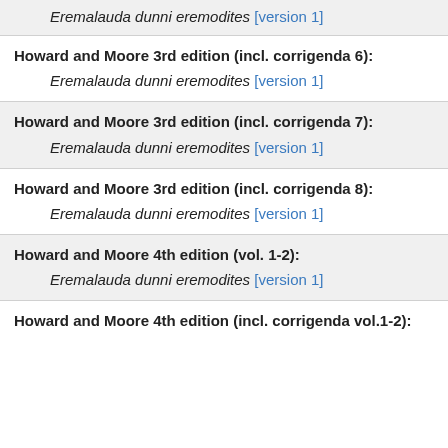Eremalauda dunni eremodites [version 1]
Howard and Moore 3rd edition (incl. corrigenda 6):
Eremalauda dunni eremodites [version 1]
Howard and Moore 3rd edition (incl. corrigenda 7):
Eremalauda dunni eremodites [version 1]
Howard and Moore 3rd edition (incl. corrigenda 8):
Eremalauda dunni eremodites [version 1]
Howard and Moore 4th edition (vol. 1-2):
Eremalauda dunni eremodites [version 1]
Howard and Moore 4th edition (incl. corrigenda vol.1-2):